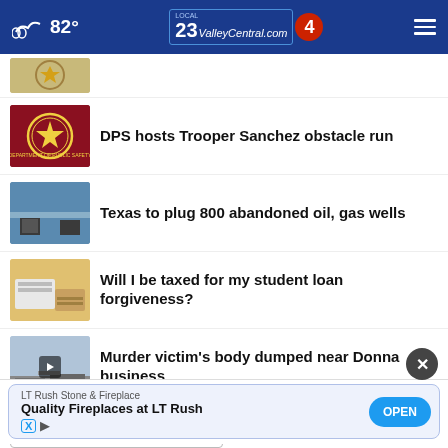82° ValleyCentral.com Local 23 4
[Figure (screenshot): Partial thumbnail image of a circular badge/seal at top]
DPS hosts Trooper Sanchez obstacle run
Texas to plug 800 abandoned oil, gas wells
Will I be taxed for my student loan forgiveness?
Murder victim's body dumped near Donna business
Mo... Stories
LT Rush Stone & Fireplace
Quality Fireplaces at LT Rush
OPEN